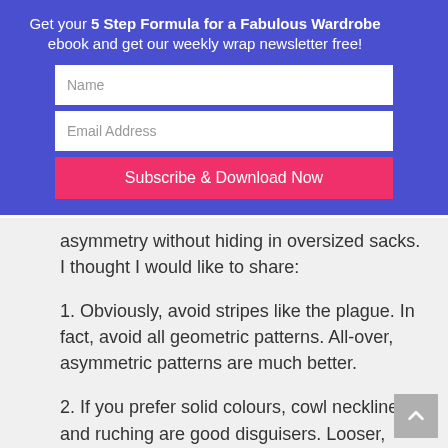Get your 5 Step Formula for a Fabulous Wardrobe ebook and get our weekly wrap newsletter free!
[Figure (other): Email subscription form with Name field, Email Address field, and Subscribe & Download Now button on a blue background, with a close (X) button]
asymmetry without hiding in oversized sacks. I thought I would like to share:
1. Obviously, avoid stripes like the plague. In fact, avoid all geometric patterns. All-over, asymmetric patterns are much better.
2. If you prefer solid colours, cowl necklines and ruching are good disguisers. Looser, button up shirts are also easier to wear.